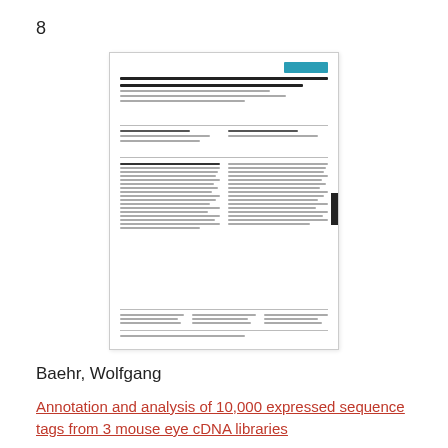8
[Figure (screenshot): Thumbnail image of a scientific journal article page with a teal/blue header bar in the top right, document title text, author information, abstract columns, and a black sidebar element on the right edge.]
Baehr, Wolfgang
Annotation and analysis of 10,000 expressed sequence tags from 3 mouse eye cDNA libraries
BACKGROUND: As a biomarker of cellular activities, the transcriptome of a specific tissue or cell type during development and disease is of great biomedical interest. We have generated and analyzed 10,000 expressed sequence tags (ESTs) from three mouse eye tissue cDNA libraries: embryonic day 15.5 (...